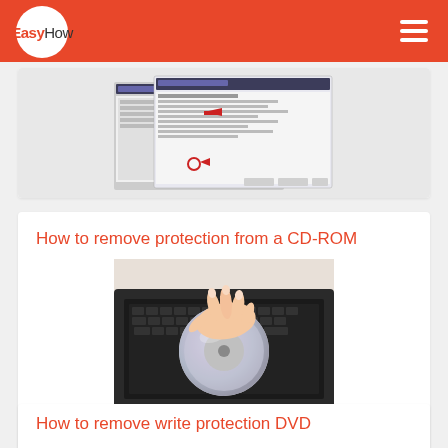EasyHow
[Figure (screenshot): Screenshot of Windows dialog boxes with red arrows highlighting settings options]
How to remove protection from a CD-ROM
[Figure (photo): Hand inserting or removing a CD/DVD disc from a laptop optical drive tray]
How to remove write protection DVD